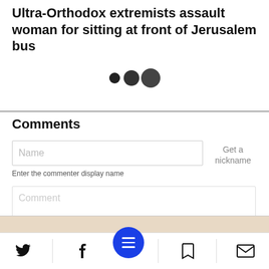Ultra-Orthodox extremists assault woman for sitting at front of Jerusalem bus
[Figure (other): Three dark circles of increasing size arranged horizontally, representing a loading or navigation indicator]
Comments
Name
Get a nickname
Enter the commenter display name
Comment
[Figure (other): Bottom navigation bar with Twitter bird icon, Facebook f icon, blue circle menu button with three horizontal lines, bookmark icon, and envelope/mail icon]